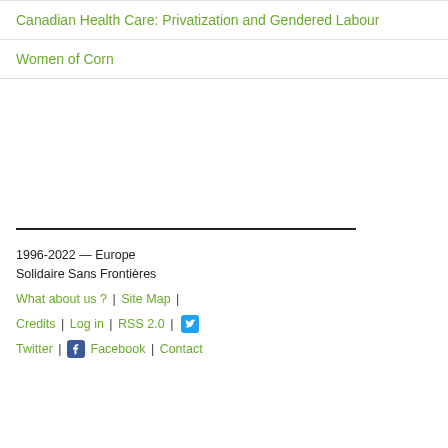Canadian Health Care: Privatization and Gendered Labour
Women of Corn
1996-2022  —  Europe Solidaire Sans Frontières
What about us ? | Site Map | Credits | Log in | RSS 2.0 | Twitter | Facebook | Contact